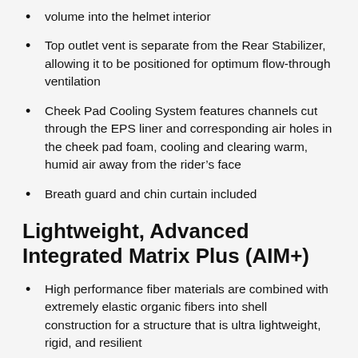volume into the helmet interior
Top outlet vent is separate from the Rear Stabilizer, allowing it to be positioned for optimum flow-through ventilation
Cheek Pad Cooling System features channels cut through the EPS liner and corresponding air holes in the cheek pad foam, cooling and clearing warm, humid air away from the rider’s face
Breath guard and chin curtain included
Lightweight, Advanced Integrated Matrix Plus (AIM+)
High performance fiber materials are combined with extremely elastic organic fibers into shell construction for a structure that is ultra lightweight, rigid, and resilient